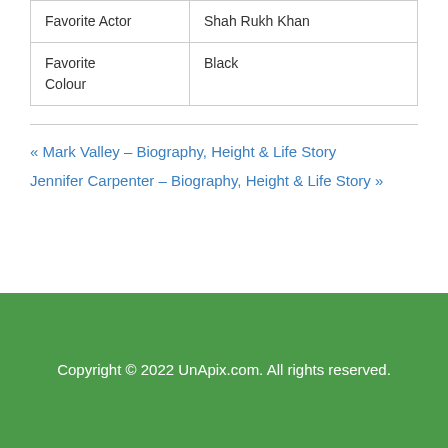| Favorite Actor | Shah Rukh Khan |
| Favorite Colour | Black |
« Mark Valley – Biography, Height & Life Story
Jennifer Carpenter – Biography, Height & Life Story »
Copyright © 2022 UnApix.com. All rights reserved.